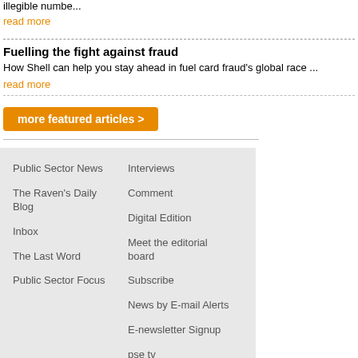illegible numbe...
read more
Fuelling the fight against fraud
How Shell can help you stay ahead in fuel card fraud's global race ...
read more
more featured articles >
Public Sector News
The Raven's Daily Blog
Inbox
The Last Word
Public Sector Focus
Interviews
Comment
Digital Edition
Meet the editorial board
Subscribe
News by E-mail Alerts
E-newsletter Signup
pse tv
Site Map